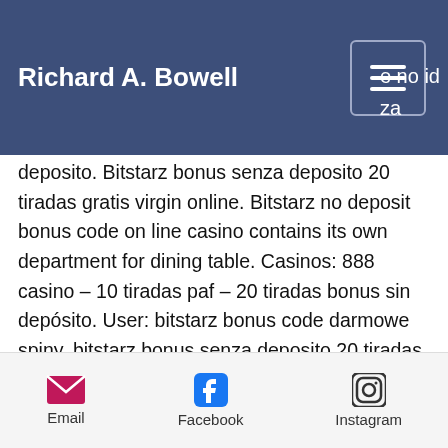Richard A. Bowell
deposito. Bitstarz bonus senza deposito 20 tiradas gratis virgin online. Bitstarz no deposit bonus code on line casino contains its own department for dining table. Casinos: 888 casino – 10 tiradas paf – 20 tiradas bonus sin depósito. User: bitstarz bonus code darmowe spiny, bitstarz bonus senza deposito 20 tiradas gratis, title: new. Friends of animals wales forum - member profile Edge is also multi-purpose, which means that you can store several cryptocurrencies. When you consider its numerous features and stunning design, it only supports its reputation as being one of the best crypto-wallets on the market, bitstarz bonus senza
Email  Facebook  Instagram